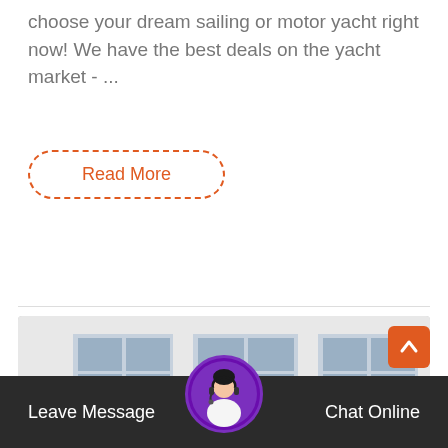choose your dream sailing or motor yacht right now! We have the best deals on the yacht market - ...
Read More
[Figure (photo): Large orange industrial vibrating screen / mining machinery loaded on a flatbed truck, parked in front of a white industrial building with grid windows.]
Leave Message
Chat Online